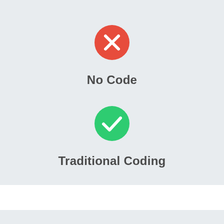[Figure (infographic): Red circle with white X icon representing No Code]
No Code
[Figure (infographic): Green circle with white checkmark icon representing Traditional Coding]
Traditional Coding